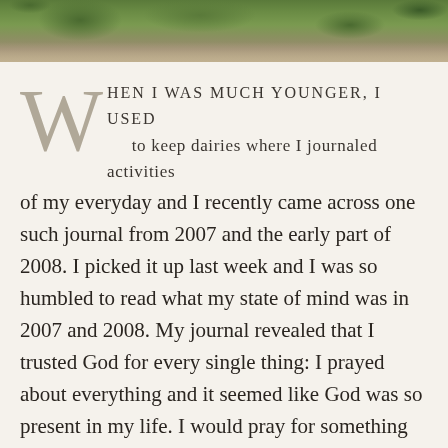[Figure (photo): Outdoor photo strip showing green foliage/grass and soil/ground at the top of the page]
WHEN I WAS MUCH YOUNGER, I USED to keep dairies where I journaled activities of my everyday and I recently came across one such journal from 2007 and the early part of 2008. I picked it up last week and I was so humbled to read what my state of mind was in 2007 and 2008. My journal revealed that I trusted God for every single thing: I prayed about everything and it seemed like God was so present in my life. I would pray for something and a day or so later I would be writing a praise report in my journal about how God answered that prayer. My journal contained the most mundane things that I shared with God